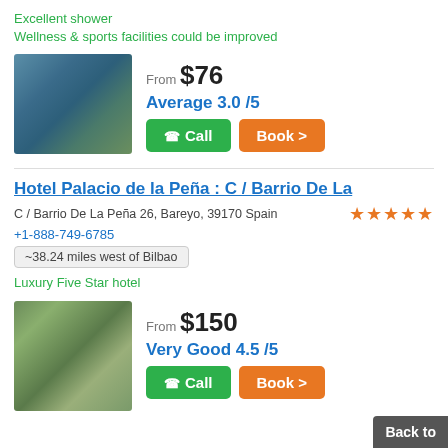Excellent shower
Wellness & sports facilities could be improved
From $76
Average 3.0 /5
[Figure (photo): Hotel building with colorful facade]
Hotel Palacio de la Peña : C / Barrio De La
C / Barrio De La Peña 26, Bareyo, 39170 Spain
+1-888-749-6785
~38.24 miles west of Bilbao
Luxury Five Star hotel
From $150
Very Good 4.5 /5
[Figure (photo): Stone building covered with ivy]
Back to